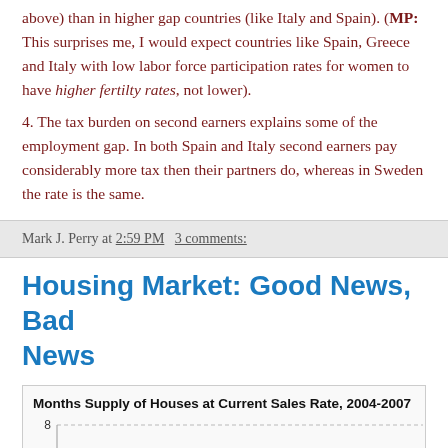above) than in higher gap countries (like Italy and Spain). (MP: This surprises me, I would expect countries like Spain, Greece and Italy with low labor force participation rates for women to have higher fertilty rates, not lower).
4. The tax burden on second earners explains some of the employment gap. In both Spain and Italy second earners pay considerably more tax then their partners do, whereas in Sweden the rate is the same.
Mark J. Perry at 2:59 PM   3 comments:
Housing Market: Good News, Bad News
[Figure (line-chart): Line chart showing months supply of houses at current sales rate from 2004 to 2007, with value 6.9 visible]